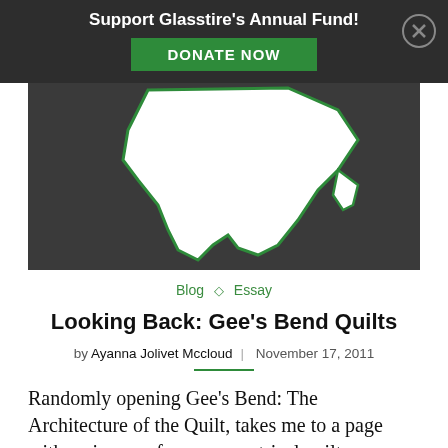Support Glasstire's Annual Fund! DONATE NOW
[Figure (illustration): Dark background with white silhouette shape resembling a geographic map region, outlined in green]
Blog ◇ Essay
Looking Back: Gee's Bend Quilts
by Ayanna Jolivet Mccloud | November 17, 2011
Randomly opening Gee's Bend: The Architecture of the Quilt, takes me to a page with an image of an asymmetrical quilt